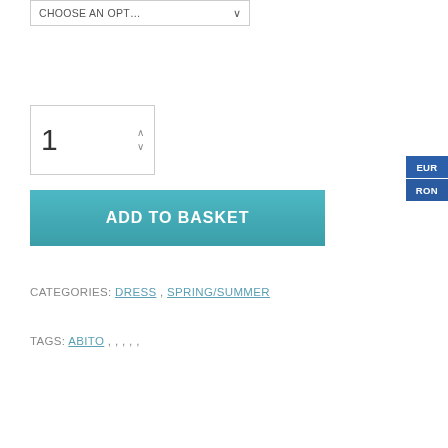[Figure (screenshot): Dropdown selector showing 'CHOOSE AN OPT...' with a down arrow, partially visible at top of page]
[Figure (screenshot): Quantity spinner box showing '1' with up/down arrows]
[Figure (screenshot): Teal gradient 'ADD TO BASKET' button]
CATEGORIES: DRESS, SPRING/SUMMER
TAGS: ABITO , , , , ,